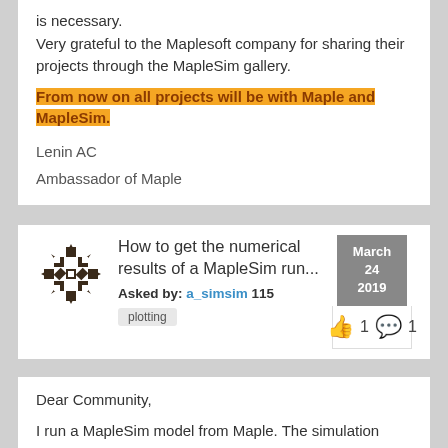is necessary.
Very grateful to the Maplesoft company for sharing their projects through the MapleSim gallery.
From now on all projects will be with Maple and MapleSim.
Lenin AC
Ambassador of Maple
How to get the numerical results of a MapleSim run...
Asked by: a_simsim 115
plotting
March 24 2019
👍 1 💬 1
Dear Community,
I run a MapleSim model from Maple. The simulation